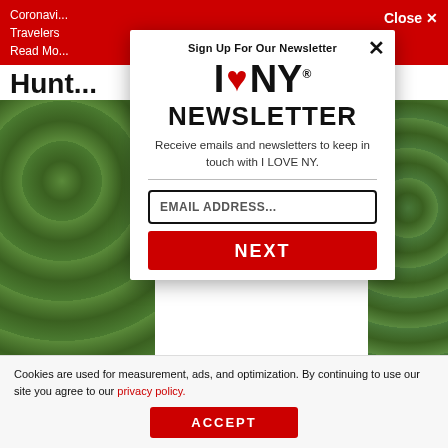Coronavirus
Travelers
Read Mo...    Close ✕
Hunt...
[Figure (screenshot): Background page showing outdoor zip-line/adventure scene with green forested hills. Partial page with red top banner and partial heading 'Hunt'.]
Sign Up For Our Newsletter
[Figure (logo): I LOVE NY logo with red heart between I and NY]
NEWSLETTER
Receive emails and newsletters to keep in touch with I LOVE NY.
EMAIL ADDRESS...
NEXT
Cookies are used for measurement, ads, and optimization. By continuing to use our site you agree to our privacy policy.
ACCEPT